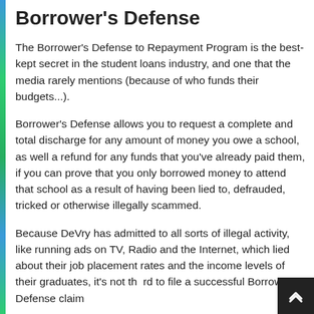Borrower's Defense
The Borrower's Defense to Repayment Program is the best-kept secret in the student loans industry, and one that the media rarely mentions (because of who funds their budgets...).
Borrower's Defense allows you to request a complete and total discharge for any amount of money you owe a school, as well a refund for any funds that you've already paid them, if you can prove that you only borrowed money to attend that school as a result of having been lied to, defrauded, tricked or otherwise illegally scammed.
Because DeVry has admitted to all sorts of illegal activity, like running ads on TV, Radio and the Internet, which lied about their job placement rates and the income levels of their graduates, it's not that hard to file a successful Borrower's Defense claim